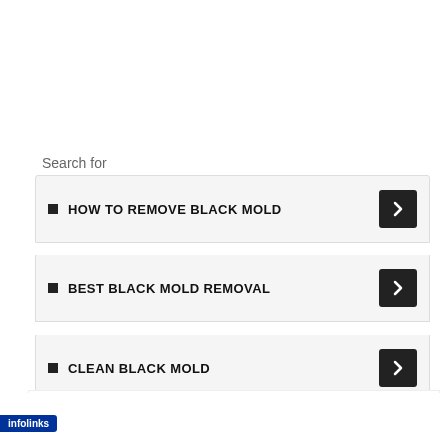Search for
HOW TO REMOVE BLACK MOLD
BEST BLACK MOLD REMOVAL
CLEAN BLACK MOLD
Privacy & Cookies: This site uses cookies. By continuing to use this a, you agree to their use.
[Figure (screenshot): Infolinks advertisement banner with beauty/makeup images, Ulta Beauty logo, and SHOP NOW call to action]